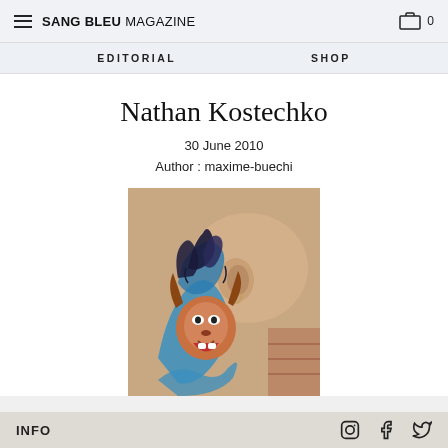SANG BLEU MAGAZINE
EDITORIAL   SHOP
Nathan Kostechko
30 June 2010
Author : maxime-buechi
[Figure (photo): Close-up photo of a colorful tattoo on the back of a person's neck/head, featuring a lion or creature with blue flame/wave elements and vivid colors.]
INFO